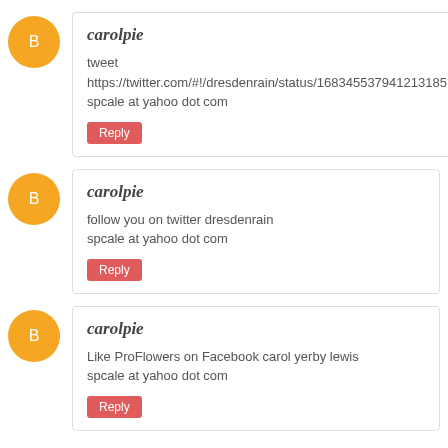carolpie
tweet https://twitter.com/#!/dresdenrain/status/168345537941213185
spcale at yahoo dot com
Reply
carolpie
follow you on twitter dresdenrain
spcale at yahoo dot com
Reply
carolpie
Like ProFlowers on Facebook carol yerby lewis
spcale at yahoo dot com
Reply